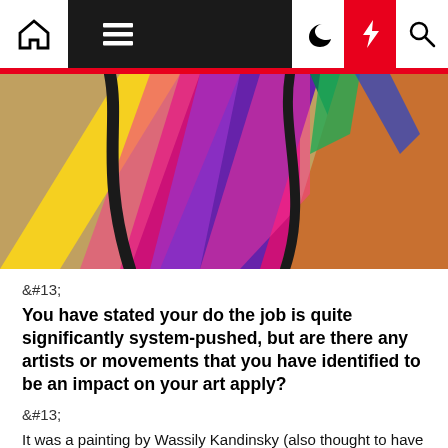Navigation bar with home, menu, moon, lightning, search icons
[Figure (photo): Colorful woven textile with bright geometric diamond patterns in yellow, magenta, pink, purple, green, orange, and blue colors]
&#13;
You have stated your do the job is quite significantly system-pushed, but are there any artists or movements that you have identified to be an impact on your art apply?
&#13;
It was a painting by Wassily Kandinsky (also thought to have been a synaesthete) that to start with sparked my desire in investigating the connections in between tunes and art: he painted Impact III (Live performance) in 1911 as his reaction to listening to a live performance of new songs by the composer